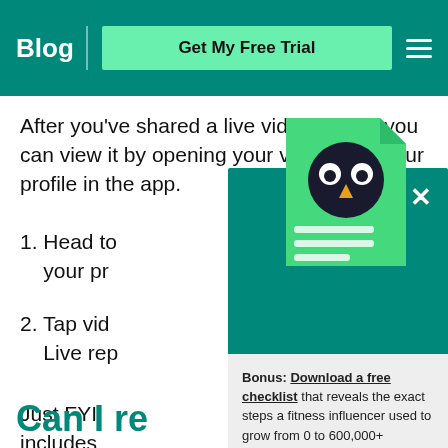Blog | Get My Free Trial
After you've shared a live video replay, you can view it by opening your video from your profile in the app.
1. Head to your profile
2. Tap video > Live replay
Just FYI: The replay includes who posted it.
[Figure (screenshot): Hootsuite owl logo on a teal document icon popup overlay]
Bonus: Download a free checklist that reveals the exact steps a fitness influencer used to grow from 0 to 600,000+ followers on Instagram with no budget and no expensive gear.
Get the free guide right now!
Can I re